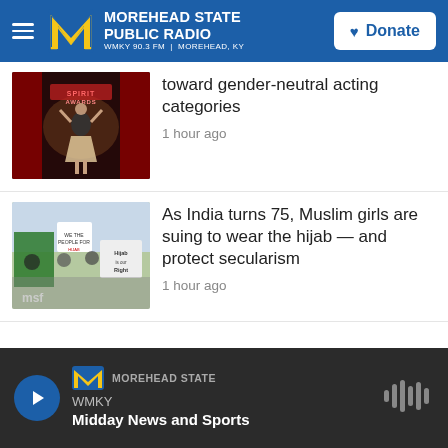Morehead State Public Radio — WMKY 90.3 FM | Morehead, KY — Donate
[Figure (screenshot): News thumbnail: performer on stage at Spirit Awards]
toward gender-neutral acting categories
1 hour ago
[Figure (photo): Protesters holding signs including 'Hijab is our Right' and other signs related to hijab rights in India]
As India turns 75, Muslim girls are suing to wear the hijab — and protect secularism
1 hour ago
WMKY — Morehead State — Midday News and Sports